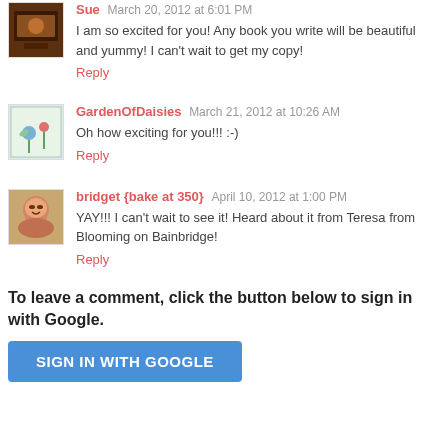Sue March 20, 2012 at 6:01 PM
I am so excited for you! Any book you write will be beautiful and yummy! I can't wait to get my copy!
Reply
GardenOfDaisies March 21, 2012 at 10:26 AM
Oh how exciting for you!!! :-)
Reply
bridget {bake at 350} April 10, 2012 at 1:00 PM
YAY!!! I can't wait to see it! Heard about it from Teresa from Blooming on Bainbridge!
Reply
To leave a comment, click the button below to sign in with Google.
SIGN IN WITH GOOGLE